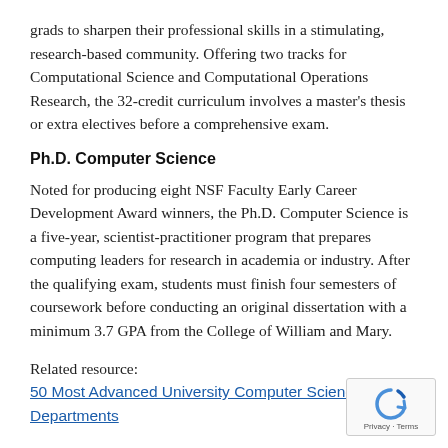grads to sharpen their professional skills in a stimulating, research-based community. Offering two tracks for Computational Science and Computational Operations Research, the 32-credit curriculum involves a master's thesis or extra electives before a comprehensive exam.
Ph.D. Computer Science
Noted for producing eight NSF Faculty Early Career Development Award winners, the Ph.D. Computer Science is a five-year, scientist-practitioner program that prepares computing leaders for research in academia or industry. After the qualifying exam, students must finish four semesters of coursework before conducting an original dissertation with a minimum 3.7 GPA from the College of William and Mary.
Related resource:
50 Most Advanced University Computer Science Departments
[Figure (other): reCAPTCHA widget showing a circular arrow icon with 'Privacy - Terms' text below]